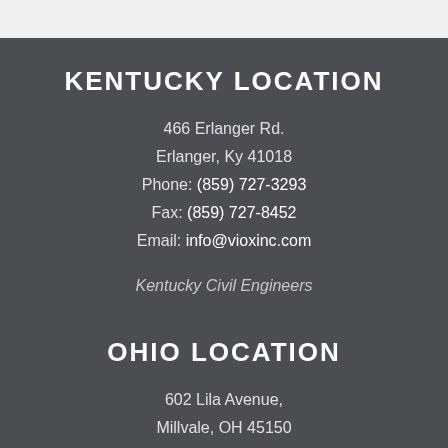KENTUCKY LOCATION
466 Erlanger Rd.
Erlanger, Ky 41018
Phone: (859) 727-3293
Fax: (859) 727-8452
Email: info@vioxinc.com
Kentucky Civil Engineers
OHIO LOCATION
602 Lila Avenue,
Millvale, OH 45150